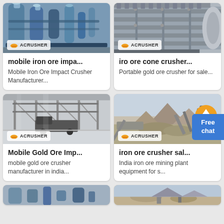[Figure (photo): Industrial machinery with large blue cylindrical tanks and piping, ACRUSHER logo badge]
mobile iron ore impa...
Mobile Iron Ore Impact Crusher Manufacturer...
[Figure (photo): Metal industrial screen/grate equipment close-up, ACRUSHER logo badge]
iro ore cone crusher...
Portable gold ore crusher for sale...
[Figure (photo): Large industrial warehouse/factory interior with heavy equipment and vehicles, ACRUSHER logo badge]
Mobile Gold Ore Imp...
mobile gold ore crusher manufacturer in india...
[Figure (photo): Outdoor mining/quarry plant with mountains in background, ACRUSHER logo badge]
iron ore crusher sal...
India iron ore mining plant equipment for s...
[Figure (photo): Partial bottom left card image]
[Figure (photo): Partial bottom right card image]